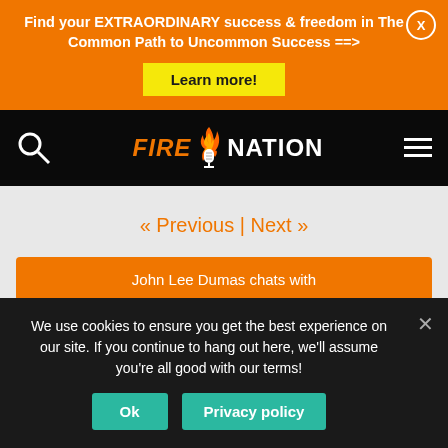Find your EXTRAORDINARY success & freedom in The Common Path to Uncommon Success ==>
Learn more!
[Figure (logo): Fire Nation podcast logo with flame and microphone icon]
« Previous | Next »
John Lee Dumas chats with
We use cookies to ensure you get the best experience on our site. If you continue to hang out here, we'll assume you're all good with our terms!
Ok
Privacy policy